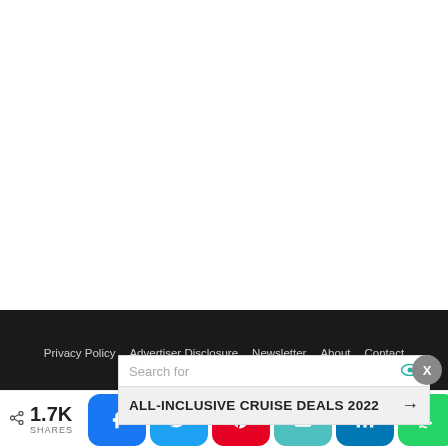Privacy Policy   Advertiser Disclosure   Newsletter   About   Contact
[Figure (other): Advertisement banner: Search for field with eye icon, ALL-INCLUSIVE CRUISE DEALS 2022 with arrow, close button X]
< 1.7K SHARES
[Figure (infographic): Social share buttons: Facebook, Twitter, Pinterest, Email, LinkedIn, WhatsApp]